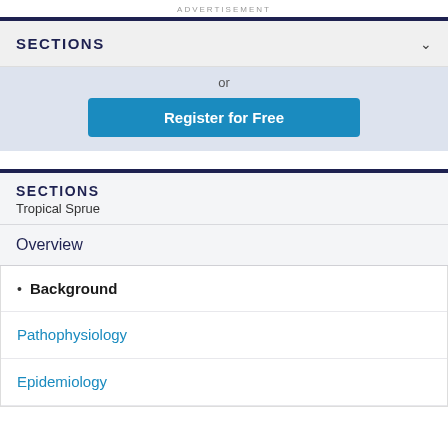ADVERTISEMENT
SECTIONS
or
Register for Free
SECTIONS
Tropical Sprue
Overview
Background
Pathophysiology
Epidemiology